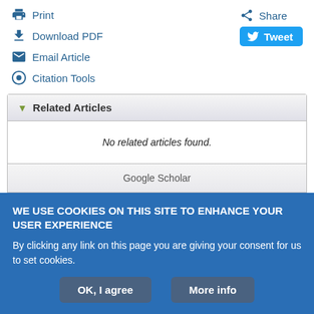Print
Download PDF
Email Article
Citation Tools
Share
Tweet
Related Articles
No related articles found.
Google Scholar
Cited By...
WE USE COOKIES ON THIS SITE TO ENHANCE YOUR USER EXPERIENCE
By clicking any link on this page you are giving your consent for us to set cookies.
OK, I agree
More info